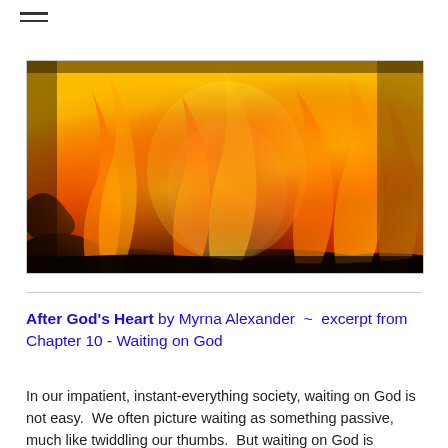[Figure (photo): Close-up photograph of burning fire with bright orange and yellow flames over dark logs/embers]
After God's Heart by Myrna Alexander ~ excerpt from Chapter 10 - Waiting on God
In our impatient, instant-everything society, waiting on God is not easy.  We often picture waiting as something passive, much like twiddling our thumbs.  But waiting on God is intensely